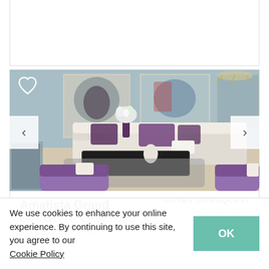[Figure (photo): Interior living room of Amatista Grand apartment showing white leather sectional sofa with purple accent pillows, black coffee table, purple armchairs, gray rug, and artwork on blue-gray walls]
Amatista Grand
RATES ON REQUEST
Costa Del Este, Panama City
Apartment types: 3 Bed,
We use cookies to enhance your online experience. By continuing to use this site, you agree to our Cookie Policy